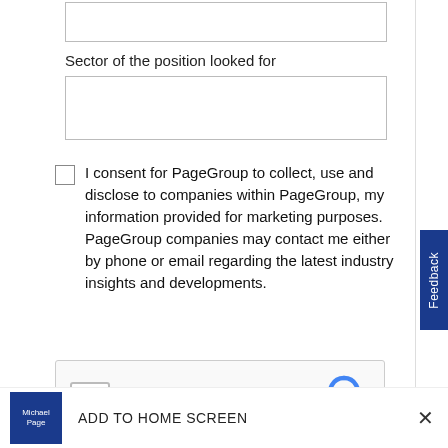[Figure (screenshot): Partial text input box at the top of the form, cropped]
Sector of the position looked for
[Figure (screenshot): Empty text input box for sector of position]
I consent for PageGroup to collect, use and disclose to companies within PageGroup, my information provided for marketing purposes. PageGroup companies may contact me either by phone or email regarding the latest industry insights and developments.
[Figure (screenshot): reCAPTCHA widget with checkbox labeled I'm not a robot and reCAPTCHA logo with Privacy and Terms links]
[Figure (screenshot): Partially visible Submit button in dark blue]
[Figure (screenshot): Feedback tab on the right side in dark blue]
ADD TO HOME SCREEN